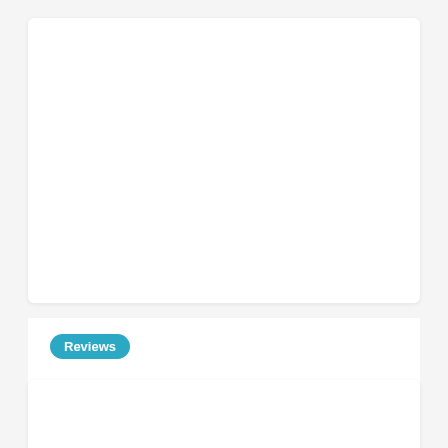[Figure (other): Blank white card placeholder image area at top of page]
Reviews
10 Best Office Chair For Hip Arthritis
When it comes to buying Office Chair For Hip Arthritis , you will find many brands selling the same product. And this will make you confused because you will not know which one of
21 JUNE 2022
[Figure (other): Partial blank white card placeholder at bottom of page]